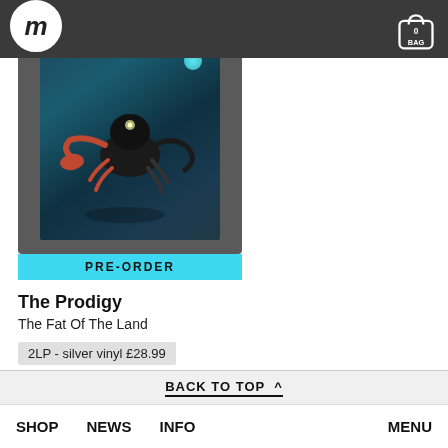m — logo and bag icon with 0 items
[Figure (photo): Album cover for The Prodigy - The Fat Of The Land showing a crab-like figure on a dark teal background, with a PRE-ORDER banner in cyan at the bottom]
The Prodigy
The Fat Of The Land
2LP - silver vinyl £28.99
BACK TO TOP ^ | SHOP | NEWS | INFO | MENU